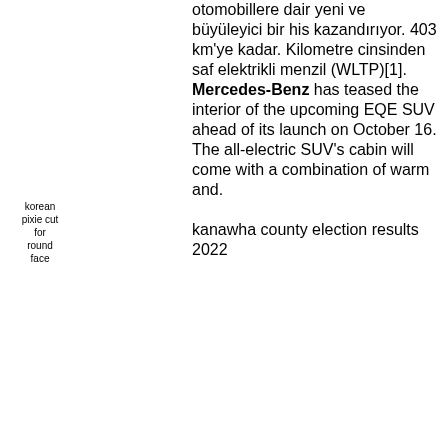otomobillere dair yeni ve büyüleyici bir his kazandırıyor. 403 km'ye kadar. Kilometre cinsinden saf elektrikli menzil (WLTP)[1]. Mercedes-Benz has teased the interior of the upcoming EQE SUV ahead of its launch on October 16. The all-electric SUV's cabin will come with a combination of warm and.
kanawha county election results 2022
korean pixie cut for round face